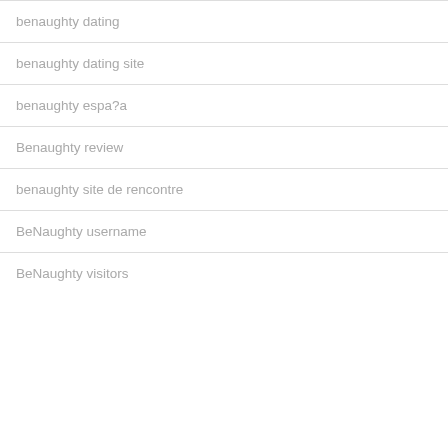benaughty dating
benaughty dating site
benaughty espa?a
Benaughty review
benaughty site de rencontre
BeNaughty username
BeNaughty visitors